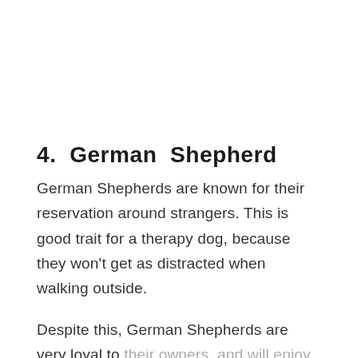4. German Shepherd
German Shepherds are known for their reservation around strangers. This is good trait for a therapy dog, because they won't get as distracted when walking outside.
Despite this, German Shepherds are very loyal to their owners, and will enjoy playing with them. When playtime is over, this type of dog can easily calm down